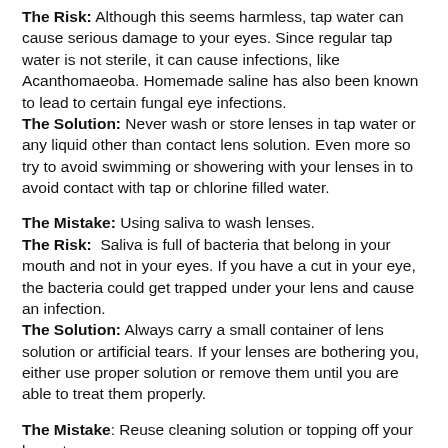The Risk: Although this seems harmless, tap water can cause serious damage to your eyes. Since regular tap water is not sterile, it can cause infections, like Acanthomaeoba. Homemade saline has also been known to lead to certain fungal eye infections.
The Solution: Never wash or store lenses in tap water or any liquid other than contact lens solution. Even more so try to avoid swimming or showering with your lenses in to avoid contact with tap or chlorine filled water.
The Mistake: Using saliva to wash lenses.
The Risk: Saliva is full of bacteria that belong in your mouth and not in your eyes. If you have a cut in your eye, the bacteria could get trapped under your lens and cause an infection.
The Solution: Always carry a small container of lens solution or artificial tears. If your lenses are bothering you, either use proper solution or remove them until you are able to treat them properly.
The Mistake: Reuse cleaning solution or topping off your lens storage case.
The Risk: Reusing solution is like begging for an eye infection